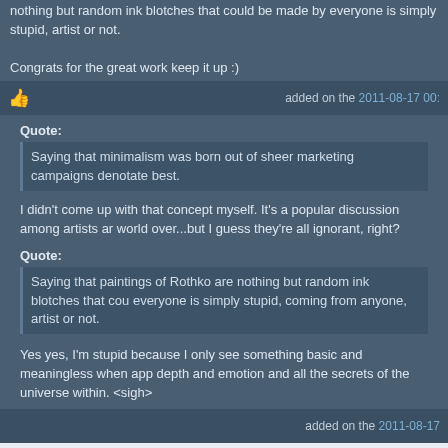nothing but random ink blotches that could be made by everyone is simply stupid, artist or not.
Congrats for the great work keep it up :)
added on the 2011-08-17 00:...
Quote:
Saying that minimalism was born out of sheer marketing campaigns denotate best.
I didn't come up with that concept myself. It's a popular discussion among artists ar world over...but I guess they're all ignorant, right?
Quote:
Saying that paintings of Rothko are nothing but random ink blotches that cou everyone is simply stupid, coming from anyone, artist or not.
Yes yes, I'm stupid because I only see something basic and meaningless when app depth and emotion and all the secrets of the universe within. <sigh>
added on the 2011-08-17
i can't understand any gripe about the music in this.
fits perfect imo as it unites styles.
BETA....
added on the 2011-08-17 01:5...
Might be worth saying that I got some black lines between some tiles in someo...